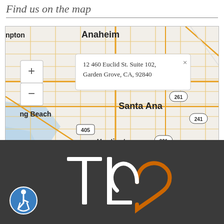Find us on the map
[Figure (map): Interactive Leaflet map centered on Orange County, CA showing a location pin at 12460 Euclid St. Suite 102, Garden Grove, CA, 92840. Visible cities include Anaheim, Orange, Santa Ana, Huntington Beach, Long Beach. Roads 405, 261, 241 visible. Map data provided by Internet Brands.]
[Figure (logo): TLC logo in white text with orange heart/arc shape on dark charcoal background. Accessibility wheelchair icon in blue circle at bottom left.]